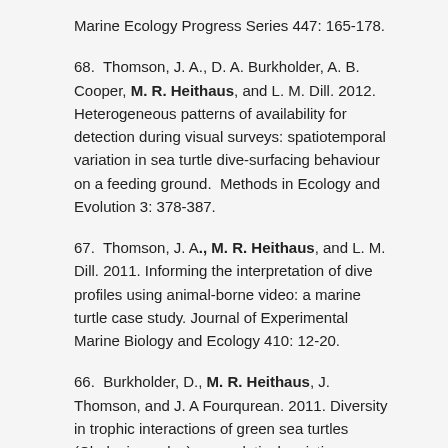Marine Ecology Progress Series 447: 165-178.
68.  Thomson, J. A., D. A. Burkholder, A. B. Cooper, M. R. Heithaus, and L. M. Dill. 2012. Heterogeneous patterns of availability for detection during visual surveys: spatiotemporal variation in sea turtle dive-surfacing behaviour on a feeding ground.  Methods in Ecology and Evolution 3: 378-387.
67.  Thomson, J. A., M. R. Heithaus, and L. M. Dill. 2011. Informing the interpretation of dive profiles using animal-borne video: a marine turtle case study. Journal of Experimental Marine Biology and Ecology 410: 12-20.
66.  Burkholder, D., M. R. Heithaus, J. Thomson, and J. A Fourqurean. 2011. Diversity in trophic interactions of green sea turtles (Chelonia mydas) on a relatively pristine coastal foraging ground.  Marine Ecology Progress Series 439:277-293.